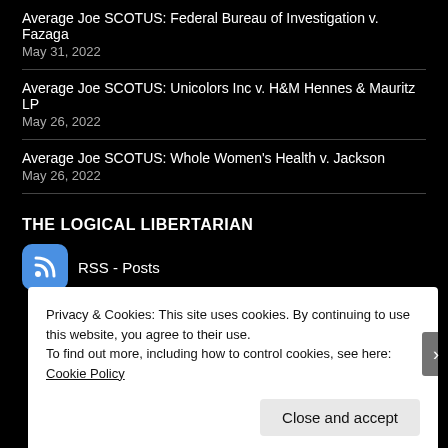Average Joe SCOTUS: Federal Bureau of Investigation v. Fazaga
May 31, 2022
Average Joe SCOTUS: Unicolors Inc v. H&M Hennes & Mauritz LP
May 26, 2022
Average Joe SCOTUS: Whole Women's Health v. Jackson
May 26, 2022
THE LOGICAL LIBERTARIAN
RSS - Posts
Privacy & Cookies: This site uses cookies. By continuing to use this website, you agree to their use.
To find out more, including how to control cookies, see here: Cookie Policy
Close and accept